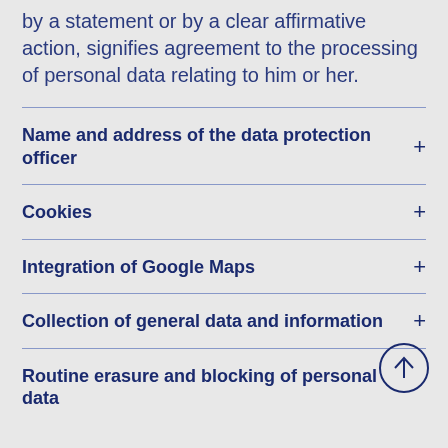by a statement or by a clear affirmative action, signifies agreement to the processing of personal data relating to him or her.
Name and address of the data protection officer
Cookies
Integration of Google Maps
Collection of general data and information
Routine erasure and blocking of personal data